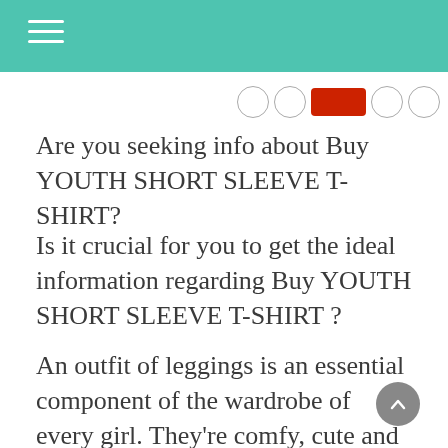Are you seeking info about Buy YOUTH SHORT SLEEVE T-SHIRT?
Is it crucial for you to get the ideal information regarding Buy YOUTH SHORT SLEEVE T-SHIRT ?
An outfit of leggings is an essential component of the wardrobe of every girl. They’re comfy, cute and always fashionable. They are worn by almost every woman, regardless of the age or style. There are a few